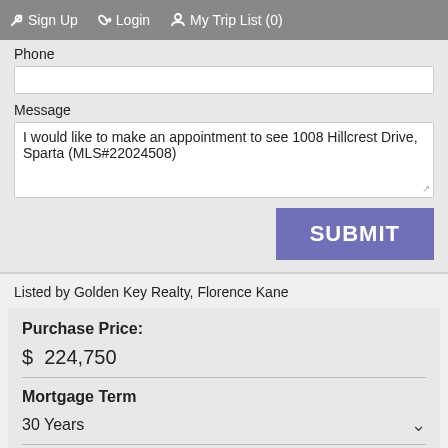Sign Up  Login  My Trip List (0)
Phone
Message
I would like to make an appointment to see 1008 Hillcrest Drive, Sparta (MLS#22024508)
SUBMIT
Listed by Golden Key Realty, Florence Kane
Purchase Price:
$ 224,750
Mortgage Term
30 Years
Down Payment: